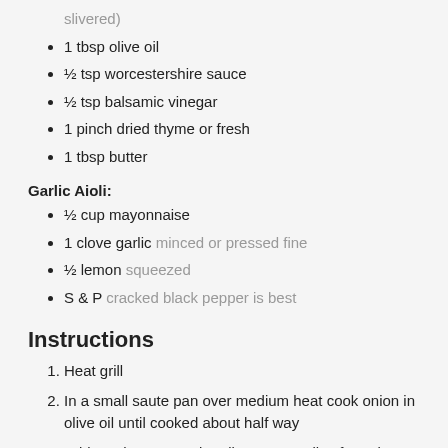slivered)
1 tbsp olive oil
½ tsp worcestershire sauce
½ tsp balsamic vinegar
1 pinch dried thyme or fresh
1 tbsp butter
Garlic Aioli:
½ cup mayonnaise
1 clove garlic minced or pressed fine
½ lemon squeezed
S & P cracked black pepper is best
Instructions
Heat grill
In a small saute pan over medium heat cook onion in olive oil until cooked about half way
Add mushrooms and garlic, saute until softened
Add worcestershire, balsamic and thyme, blend together
Add butter and toss. Move over to one side of pan, turn off heat and add arugula to empty side of pan to